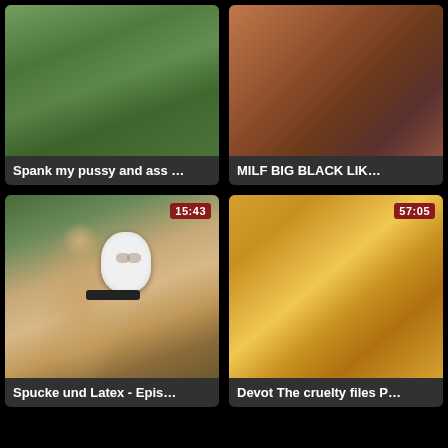[Figure (photo): Video thumbnail showing outdoor scene with wooden structure and person in blue skirt]
Spank my pussy and ass …
[Figure (photo): Video thumbnail showing close-up of person with dark hair]
MILF BIG BLACK LIK…
[Figure (photo): Video thumbnail showing outdoor scene with two people, one wearing a white mask and collar, duration 15:43]
Spucke und Latex - Epis…
[Figure (photo): Video thumbnail showing blurred colorful scene, duration 57:05]
Devot The cruelty files P…